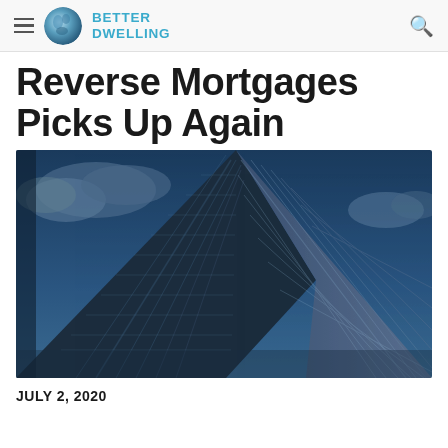BETTER DWELLING
Reverse Mortgages Picks Up Again
[Figure (photo): Looking up at a modern glass skyscraper against a dark blue cloudy sky, showing the angular corner of the building with reflective facade panels.]
JULY 2, 2020